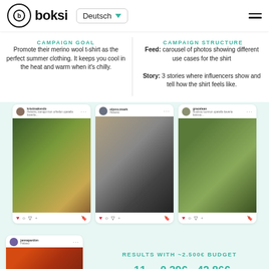[Figure (screenshot): Boksi platform header with logo, Deutsch language selector, and hamburger menu]
CAMPAIGN GOAL
Promote their merino wool t-shirt as the perfect summer clothing. It keeps you cool in the heat and warm when it's chilly.
CAMPAIGN STRUCTURE
Feed: carousel of photos showing different use cases for the shirt
Story: 3 stories where influencers show and tell how the shirt feels like.
[Figure (screenshot): Three Instagram post cards showing influencers wearing the merino wool t-shirt in outdoor settings]
[Figure (screenshot): Fourth Instagram post card with person in orange helmet in forest]
RESULTS WITH ~2.500€ BUDGET
11 influencers   0.39€ CPE   42.86€ CPM